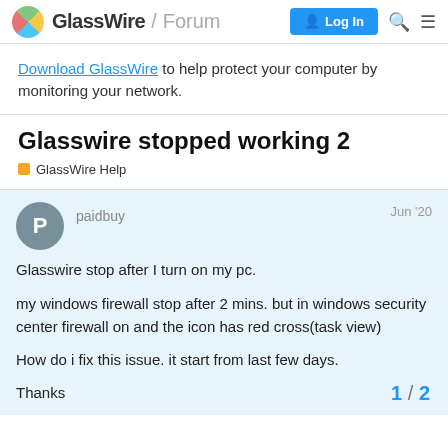GlassWire / Forum  Log In
Download GlassWire to help protect your computer by monitoring your network.
Glasswire stopped working 2
GlassWire Help
paidbuy  Jun '20

Glasswire stop after I turn on my pc.

my windows firewall stop after 2 mins. but in windows security center firewall on and the icon has red cross(task view)

How do i fix this issue. it start from last few days.

Thanks
1 / 2